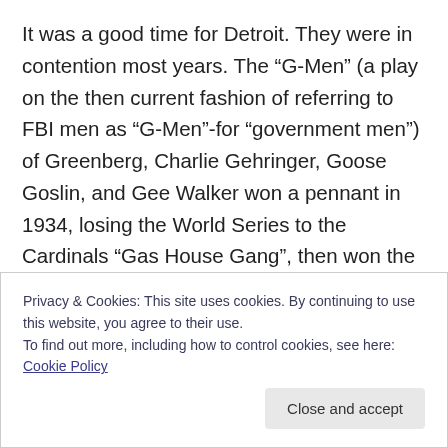It was a good time for Detroit. They were in contention most years. The “G-Men” (a play on the then current fashion of referring to FBI men as “G-Men”-for “government men”) of Greenberg, Charlie Gehringer, Goose Goslin, and Gee Walker won a pennant in 1934, losing the World Series to the Cardinals “Gas House Gang”, then won the World Series in 1935 over Chicago. Greenberg led the American League in doubles in 1934 and in home runs, total bases, and RBIs in 1935.  He led the league again in RBIs in 1937. In 1938 he made a serious run at Babe Ruth’s 60 home run record. He
Privacy & Cookies: This site uses cookies. By continuing to use this website, you agree to their use.
To find out more, including how to control cookies, see here: Cookie Policy